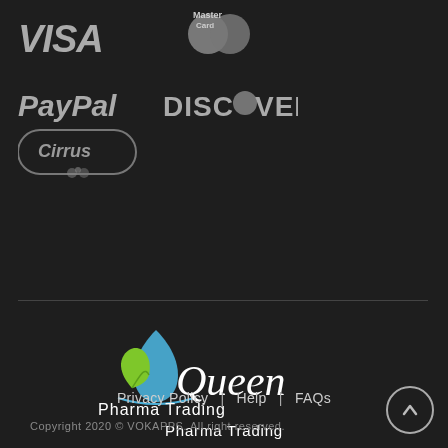[Figure (logo): VISA payment logo in grey italic bold text]
[Figure (logo): MasterCard payment logo with overlapping circles and text]
[Figure (logo): PayPal payment logo in grey italic text]
[Figure (logo): DISCOVER payment logo in grey bold text]
[Figure (logo): Cirrus payment logo in oval badge with grey text]
[Figure (logo): Queen Pharma Trading company logo with blue teardrop, green leaf, and script text]
Privacy Policy  |  Help  |  FAQs
Copyright 2020 © VOKAPPS. All right reserved.